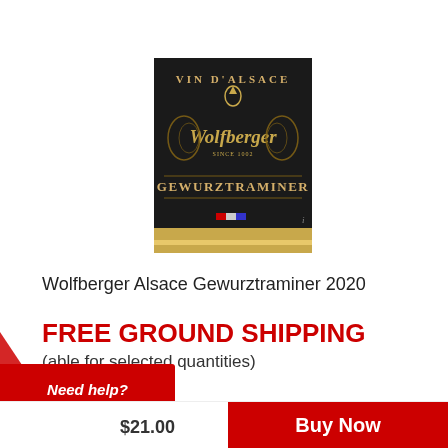[Figure (illustration): Wine bottle label for Wolfberger Alsace Gewurztraminer 2020. Dark/black background label showing 'Vin d'Alsace' at top, 'Wolfberger' in gothic script in the middle with decorative crest, 'Gewurztraminer' at bottom in serif lettering, gold/yellow stripe at the bottom with small flag decorations.]
Wolfberger Alsace Gewurztraminer 2020
FREE GROUND SHIPPING
(able for selected quantities)
$21.00
Buy Now
Need help?